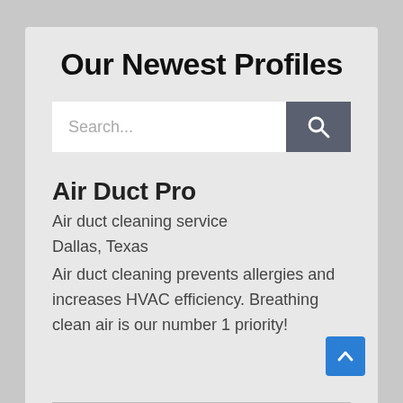Our Newest Profiles
[Figure (screenshot): Search input field with placeholder text 'Search...' and a dark grey search button with magnifying glass icon]
Air Duct Pro
Air duct cleaning service
Dallas, Texas
Air duct cleaning prevents allergies and increases HVAC efficiency. Breathing clean air is our number 1 priority!